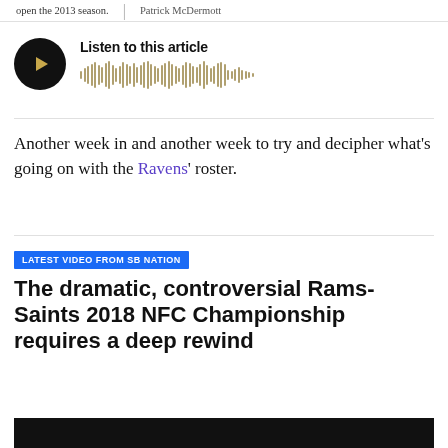open the 2013 season.  |  Patrick McDermott
[Figure (other): Audio player widget with black circular play button and waveform bars, titled 'Listen to this article']
Another week in and another week to try and decipher what's going on with the Ravens' roster.
LATEST VIDEO FROM SB NATION
The dramatic, controversial Rams-Saints 2018 NFC Championship requires a deep rewind
[Figure (screenshot): Dark/black video thumbnail at bottom of page]